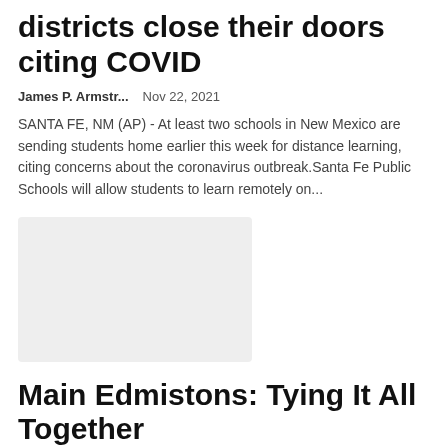districts close their doors citing COVID
James P. Armstr...   Nov 22, 2021
SANTA FE, NM (AP) - At least two schools in New Mexico are sending students home earlier this week for distance learning, citing concerns about the coronavirus outbreak.Santa Fe Public Schools will allow students to learn remotely on...
[Figure (photo): Gray placeholder image for an article photo]
Main Edmistons: Tying It All Together